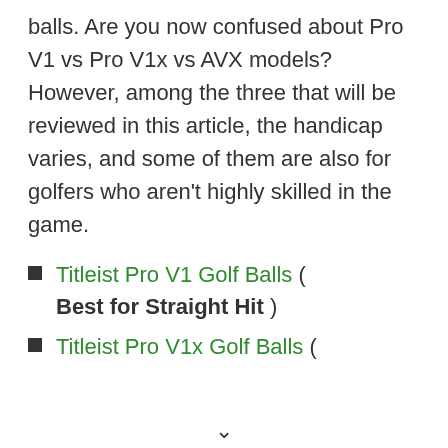balls. Are you now confused about Pro V1 vs Pro V1x vs AVX models? However, among the three that will be reviewed in this article, the handicap varies, and some of them are also for golfers who aren't highly skilled in the game.
Titleist Pro V1 Golf Balls ( Best for Straight Hit )
Titleist Pro V1x Golf Balls (